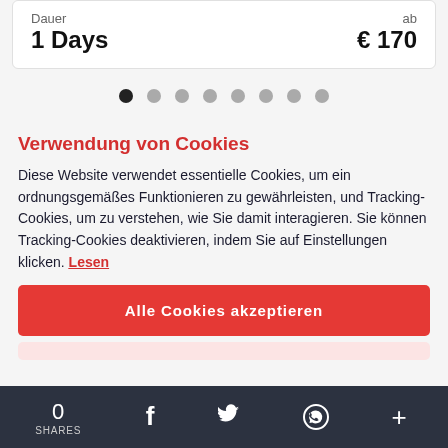| Dauer | ab |
| --- | --- |
| 1 Days | € 170 |
[Figure (other): Pagination dots: 8 dots, first one active (dark), rest grey]
Verwendung von Cookies
Diese Website verwendet essentielle Cookies, um ein ordnungsgemäßes Funktionieren zu gewährleisten, und Tracking-Cookies, um zu verstehen, wie Sie damit interagieren. Sie können Tracking-Cookies deaktivieren, indem Sie auf Einstellungen klicken. Lesen
Alle Cookies akzeptieren
0 SHARES  [Facebook] [Twitter] [WhatsApp] [+]